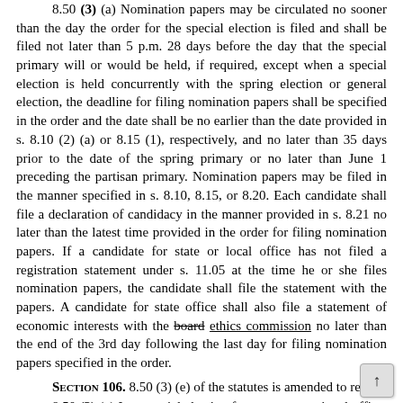8.50 (3) (a) Nomination papers may be circulated no sooner than the day the order for the special election is filed and shall be filed not later than 5 p.m. 28 days before the day that the special primary will or would be held, if required, except when a special election is held concurrently with the spring election or general election, the deadline for filing nomination papers shall be specified in the order and the date shall be no earlier than the date provided in s. 8.10 (2) (a) or 8.15 (1), respectively, and no later than 35 days prior to the date of the spring primary or no later than June 1 preceding the partisan primary. Nomination papers may be filed in the manner specified in s. 8.10, 8.15, or 8.20. Each candidate shall file a declaration of candidacy in the manner provided in s. 8.21 no later than the latest time provided in the order for filing nomination papers. If a candidate for state or local office has not filed a registration statement under s. 11.05 at the time he or she files nomination papers, the candidate shall file the statement with the papers. A candidate for state office shall also file a statement of economic interests with the [board] ethics commission no later than the end of the 3rd day following the last day for filing nomination papers specified in the order.
Section 106. 8.50 (3) (e) of the statutes is amended to read:
8.50 (3) (e) In a special election for a state or national office, the county clerk or board of election commissioners shall transmit the statement of the county board of canvassers to the [government accountability board] elections commission no later than 7 days after the special primary and 13 days after the special election.